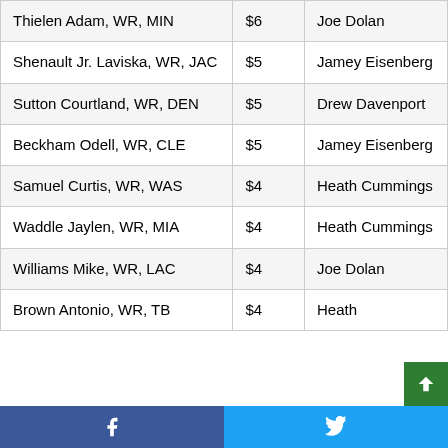| Player | Price | Expert |
| --- | --- | --- |
| Thielen Adam, WR, MIN | $6 | Joe Dolan |
| Shenault Jr. Laviska, WR, JAC | $5 | Jamey Eisenberg |
| Sutton Courtland, WR, DEN | $5 | Drew Davenport |
| Beckham Odell, WR, CLE | $5 | Jamey Eisenberg |
| Samuel Curtis, WR, WAS | $4 | Heath Cummings |
| Waddle Jaylen, WR, MIA | $4 | Heath Cummings |
| Williams Mike, WR, LAC | $4 | Joe Dolan |
| Brown Antonio, WR, TB | $4 | Heath ... |
Facebook | Twitter